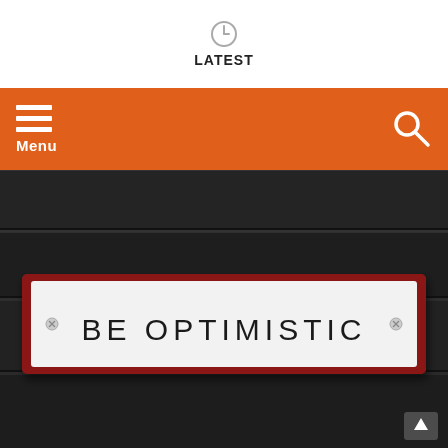LATEST
Menu
[Figure (photo): Photograph of a dark painted wooden surface with horizontal ridges/panels, featuring a white enamel sign with red border that reads 'BE OPTIMISTIC' in large spaced capital letters, mounted with screws at each corner.]